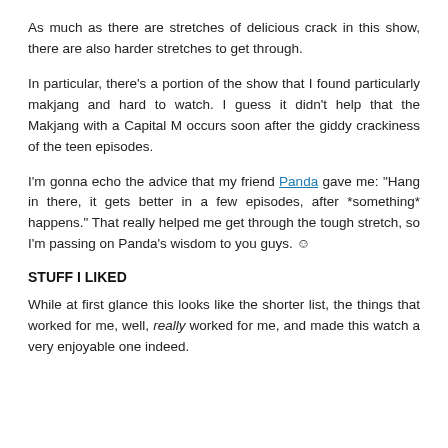As much as there are stretches of delicious crack in this show, there are also harder stretches to get through.
In particular, there's a portion of the show that I found particularly makjang and hard to watch. I guess it didn't help that the Makjang with a Capital M occurs soon after the giddy crackiness of the teen episodes.
I'm gonna echo the advice that my friend Panda gave me: "Hang in there, it gets better in a few episodes, after *something* happens." That really helped me get through the tough stretch, so I'm passing on Panda's wisdom to you guys. ☺
STUFF I LIKED
While at first glance this looks like the shorter list, the things that worked for me, well, really worked for me, and made this watch a very enjoyable one indeed.